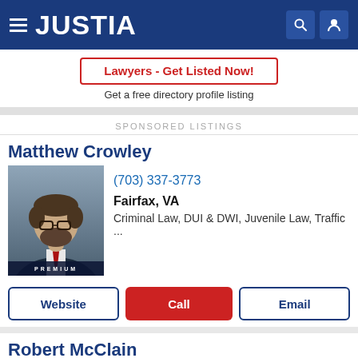JUSTIA
Lawyers - Get Listed Now!
Get a free directory profile listing
SPONSORED LISTINGS
Matthew Crowley
[Figure (photo): Headshot of Matthew Crowley, a man with glasses and beard wearing a suit and red tie. PREMIUM badge at bottom.]
(703) 337-3773
Fairfax, VA
Criminal Law, DUI & DWI, Juvenile Law, Traffic ...
Website   Call   Email
Robert McClain